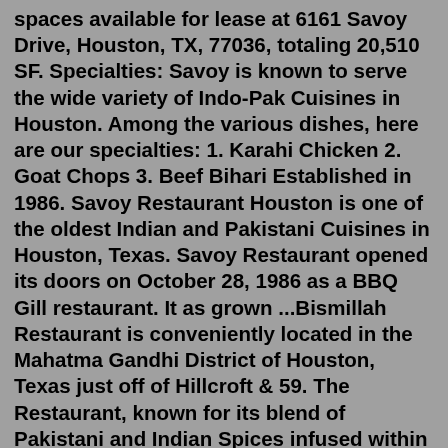spaces available for lease at 6161 Savoy Drive, Houston, TX, 77036, totaling 20,510 SF. Specialties: Savoy is known to serve the wide variety of Indo-Pak Cuisines in Houston. Among the various dishes, here are our specialties: 1. Karahi Chicken 2. Goat Chops 3. Beef Bihari Established in 1986. Savoy Restaurant Houston is one of the oldest Indian and Pakistani Cuisines in Houston, Texas. Savoy Restaurant opened its doors on October 28, 1986 as a BBQ Gill restaurant. It as grown ...Bismillah Restaurant is conveniently located in the Mahatma Gandhi District of Houston, Texas just off of Hillcroft & 59. The Restaurant, known for its blend of Pakistani and Indian Spices infused within the traditional South Asian Culture serves genuine delicacies that have been perfected over generations.the savoy club. Since our establishment in January 2017, The Savoy Club has become the premier Jazz, Soul and R&B Club in Columbus. Whether you're a seasoned club enthusiast or just looking for a fun, memorable night out, The Savoy Club is the premier destination...